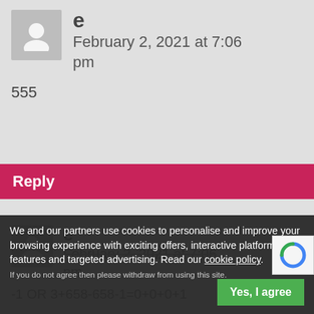e
February 2, 2021 at 7:06 pm
555
Reply
e
February 2, 2021 at 7:06 pm
-1 OR 3+658-658-1=0+0+0+1
We and our partners use cookies to personalise and improve your browsing experience with exciting offers, interactive platform features and targeted advertising. Read our cookie policy.
If you do not agree then please withdraw from using this site.
Yes, I agree